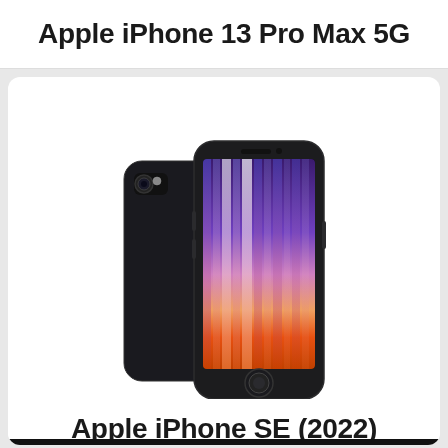Apple iPhone 13 Pro Max 5G
[Figure (photo): Apple iPhone SE (2022) in Midnight color, showing front and back view. The front display shows a colorful vertical stripe wallpaper with purple, pink, and orange gradients. The back shows a single camera module.]
Apple iPhone SE (2022)